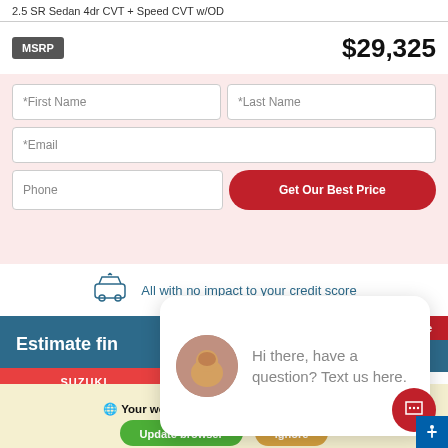2.5 SR Sedan 4dr CVT + Speed CVT w/OD
MSRP   $29,325
[Figure (screenshot): Web form with First Name, Last Name, Email, Phone input fields and a red 'Get Our Best Price' button on a light pink background]
All with no impact to your credit score
Estimate fin...
[Figure (photo): Chat widget popup showing a woman's photo and text 'Hi there, have a question? Text us here.' with a close button]
Your web browser (iOS 11) is out of date. Update your browser for more security, speed, and the best experience on this site.
Update browser   Ignore